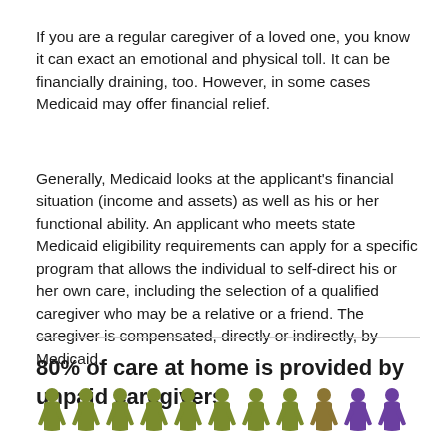If you are a regular caregiver of a loved one, you know it can exact an emotional and physical toll. It can be financially draining, too. However, in some cases Medicaid may offer financial relief.
Generally, Medicaid looks at the applicant's financial situation (income and assets) as well as his or her functional ability. An applicant who meets state Medicaid eligibility requirements can apply for a specific program that allows the individual to self-direct his or her own care, including the selection of a qualified caregiver who may be a relative or a friend. The caregiver is compensated, directly or indirectly, by Medicaid.
80% of care at home is provided by unpaid caregivers
[Figure (infographic): A row of human figure icons — approximately 9 olive/green-colored figures followed by 2 purple-colored figures, representing 80% unpaid caregiver statistic.]